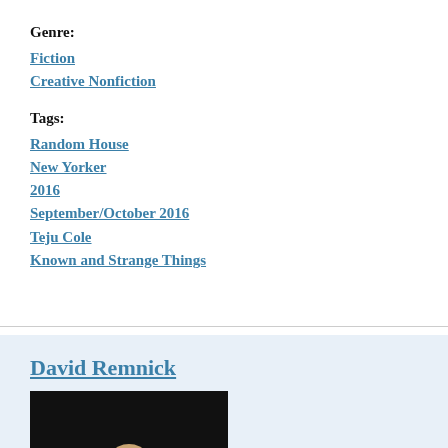Genre:
Fiction
Creative Nonfiction
Tags:
Random House
New Yorker
2016
September/October 2016
Teju Cole
Known and Strange Things
David Remnick
[Figure (photo): Photo of David Remnick, partially visible, dark background]